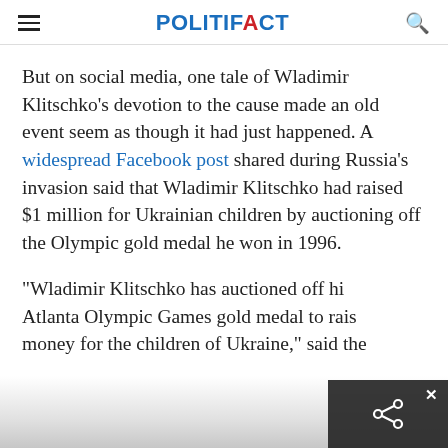POLITIFACT
But on social media, one tale of Wladimir Klitschko's devotion to the cause made an old event seem as though it had just happened. A widespread Facebook post shared during Russia's invasion said that Wladimir Klitschko had raised $1 million for Ukrainian children by auctioning off the Olympic gold medal he won in 1996.
"Wladimir Klitschko has auctioned off his 1996 Atlanta Olympic Games gold medal to raise money for the children of Ukraine," said the